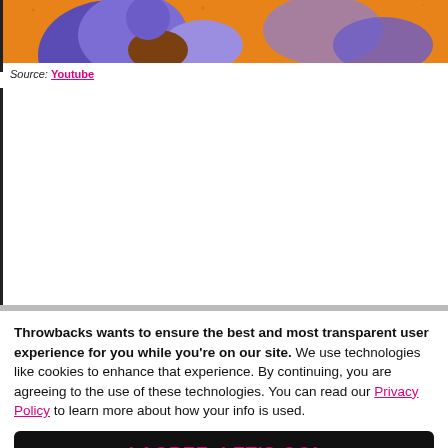[Figure (illustration): Colorful cartoon illustration with orange background and animated characters in blue/purple tones, partially visible at top of page]
Source: Youtube
Throwbacks wants to ensure the best and most transparent user experience for you while you're on our site. We use technologies like cookies to enhance that experience. By continuing, you are agreeing to the use of these technologies. You can read our Privacy Policy to learn more about how your info is used.
I AGREE, LET'S GO!